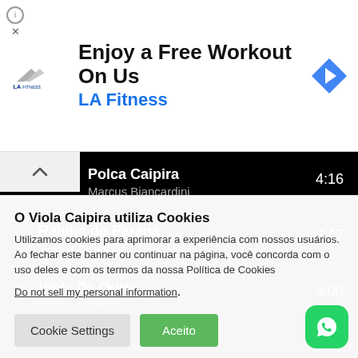[Figure (screenshot): LA Fitness advertisement banner with logo, text 'Enjoy a Free Workout On Us', 'LA Fitness', and navigation arrow icon]
[Figure (screenshot): Music player list showing tracks: Polca Caipira by Marcus Biancardini (4:16), track 6 Rainha do Paraná by Nestor Da Viola (3:47), track 7 Viola De Ouro by Tonico e Tinoco (3:00)]
O Viola Caipira utiliza Cookies
Utilizamos cookies para aprimorar a experiência com nossos usuários. Ao fechar este banner ou continuar na página, você concorda com o uso deles e com os termos da nossa Política de Cookies
Do not sell my personal information.